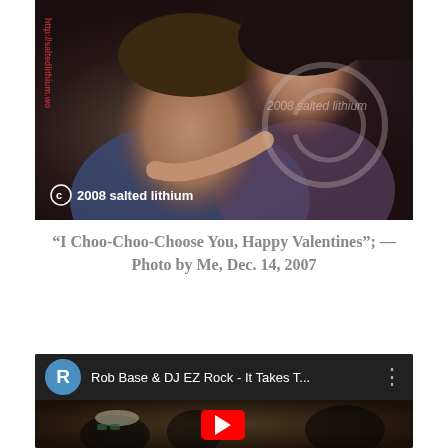[Figure (photo): A couple posing for a photo — a young man in the foreground and a woman hugging him from behind, both smiling. The image has watermark text '2008 salted lithium' and a copyright symbol with 'http://saltedlithium.wo' on the side.]
“I Choo-Choo-Choose You, Happy Valentines”; — Photo by Me, Dec. 14, 2007
[Figure (screenshot): YouTube video embed showing Rob Base & DJ EZ Rock - It Takes T... with a blue avatar letter R, three-dot menu, and a red YouTube play button over a dark video thumbnail of people.]